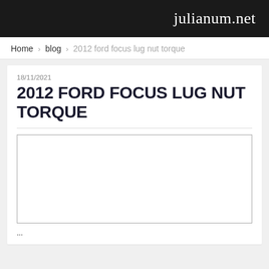julianum.net
Home › blog › 2012 ford focus lug nut torque
18/11/2021
2012 FORD FOCUS LUG NUT TORQUE
[Figure (other): Blank white image placeholder with gray border]
... (partially visible caption text below image)